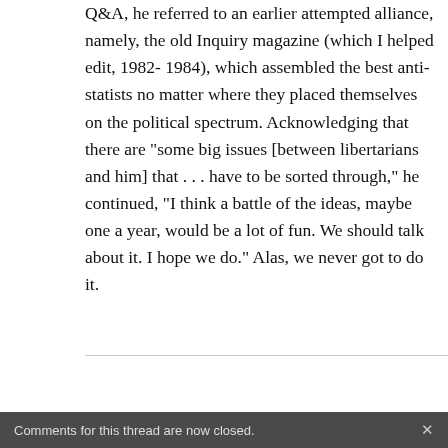Q&A, he referred to an earlier attempted alliance, namely, the old Inquiry magazine (which I helped edit, 1982-1984), which assembled the best anti-statists no matter where they placed themselves on the political spectrum. Acknowledging that there are "some big issues [between libertarians and him] that . . . have to be sorted through," he continued, "I think a battle of the ideas, maybe one a year, would be a lot of fun. We should talk about it. I hope we do." Alas, we never got to do it.
Comments for this thread are now closed.